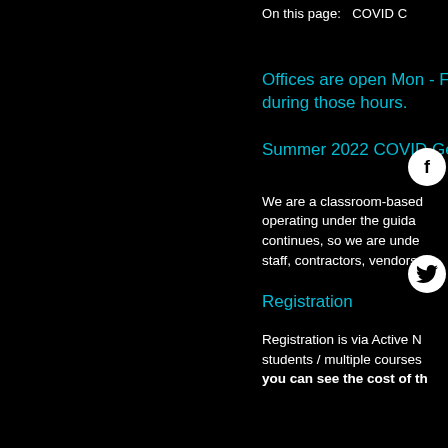On this page:   COVID C
Offices are open Mon - F during those hours.
Summer 2022 COVID Ge
We are a classroom-based operating under the guida continues, so we are unde staff, contractors, vendors
Registration
Registration is via Active N students / multiple courses you can see the cost of th